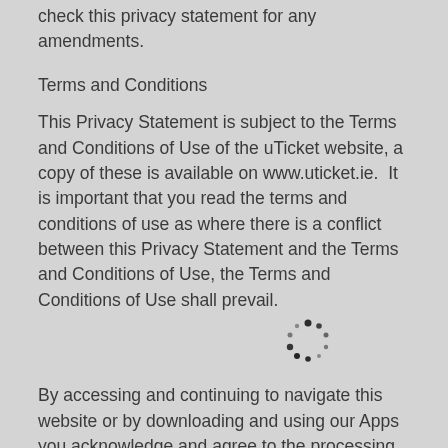check this privacy statement for any amendments.
Terms and Conditions
This Privacy Statement is subject to the Terms and Conditions of Use of the uTicket website, a copy of these is available on www.uticket.ie.  It is important that you read the terms and conditions of use as where there is a conflict between this Privacy Statement and the Terms and Conditions of Use, the Terms and Conditions of Use shall prevail.
[Figure (other): Loading spinner graphic — circular arrangement of dots]
By accessing and continuing to navigate this website or by downloading and using our Apps you acknowledge and agree to the processing of your personal data in the manner outlined above. You also agree that in certain circumstances we may be obliged to disclose personal information relating to you to third parties in order to prevent, detect or prevent fraud.